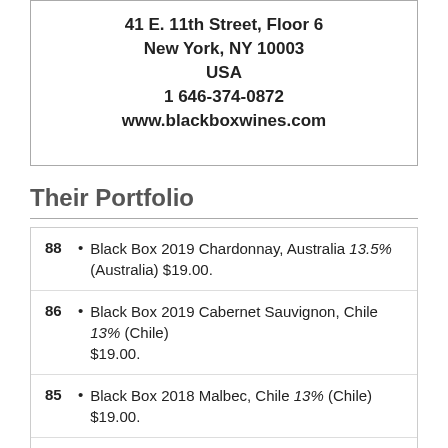41 E. 11th Street, Floor 6
New York, NY 10003
USA
1 646-374-0872
www.blackboxwines.com
Their Portfolio
88 • Black Box 2019 Chardonnay, Australia 13.5% (Australia) $19.00.
86 • Black Box 2019 Cabernet Sauvignon, Chile 13% (Chile) $19.00.
85 • Black Box 2018 Malbec, Chile 13% (Chile) $19.00.
BR • Black Box 2019 Sauvignon Blanc, Chile 12.7% (Chile) $19.00. - Bronze Medal